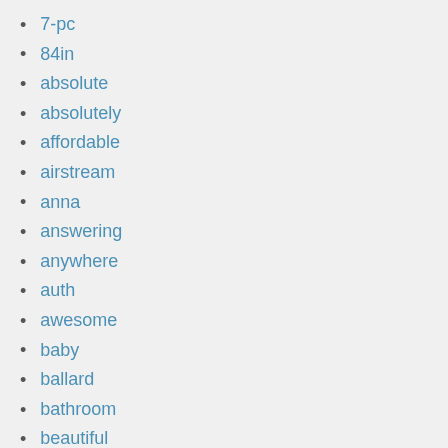7-pc
84in
absolute
absolutely
affordable
airstream
anna
answering
anywhere
auth
awesome
baby
ballard
bathroom
beautiful
bedroom